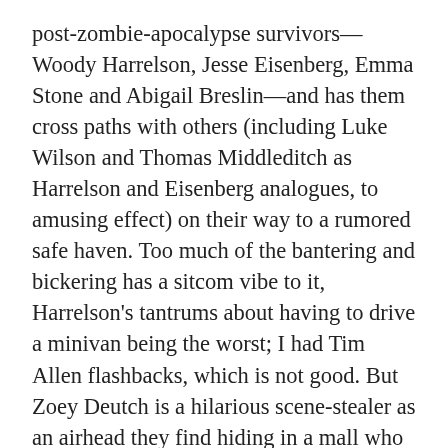post-zombie-apocalypse survivors—Woody Harrelson, Jesse Eisenberg, Emma Stone and Abigail Breslin—and has them cross paths with others (including Luke Wilson and Thomas Middleditch as Harrelson and Eisenberg analogues, to amusing effect) on their way to a rumored safe haven. Too much of the bantering and bickering has a sitcom vibe to it, Harrelson's tantrums about having to drive a minivan being the worst; I had Tim Allen flashbacks, which is not good. But Zoey Deutch is a hilarious scene-stealer as an airhead they find hiding in a mall who complicates Eisenberg and Stone's relationship—which is a great and necessary addition, because so much of the movie otherwise is just a rehash of the jokes and themes from the first one. As is the case with zombies, two shots of this should be more than enough to kill it for good. Opens Oct. 18